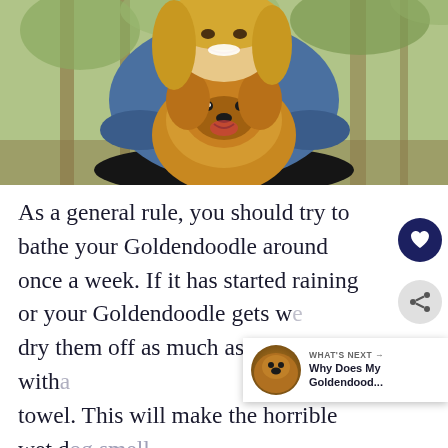[Figure (photo): A smiling blonde woman crouching outdoors, hugging a golden Goldendoodle dog. Background shows trees and outdoor setting. Woman wearing blue denim jacket and black pants.]
As a general rule, you should try to bathe your Goldendoodle around once a week. If it has started raining or your Goldendoodle gets wet, dry them off as much as possible with a towel. This will make the horrible wet dog smell dissipate faster. Make sure to dry their paws and belly, as these are common areas on your